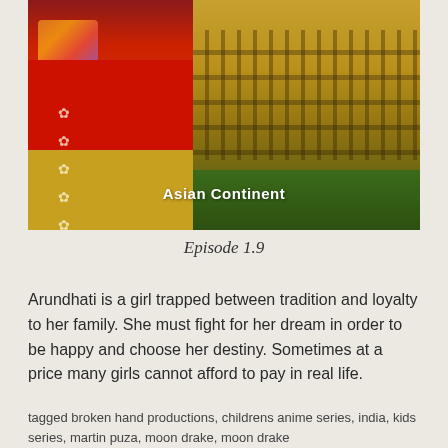[Figure (photo): Photo showing a woman in traditional Indian red dress with colorful bangles on the left, and a golden-brown Indian fort/palace with green trees in the background on the right. White text overlay reads 'Asian Continent'.]
Episode 1.9
Arundhati is a girl trapped between tradition and loyalty to her family. She must fight for her dream in order to be happy and choose her destiny. Sometimes at a price many girls cannot afford to pay in real life.
tagged broken hand productions, childrens anime series, india, kids series, martin puza, moon drake, moon drake